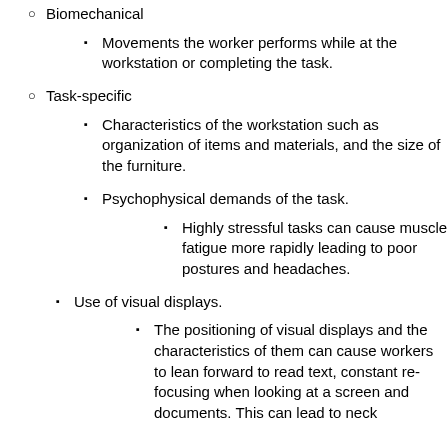Biomechanical
Movements the worker performs while at the workstation or completing the task.
Task-specific
Characteristics of the workstation such as organization of items and materials, and the size of the furniture.
Psychophysical demands of the task.
Highly stressful tasks can cause muscle fatigue more rapidly leading to poor postures and headaches.
Use of visual displays.
The positioning of visual displays and the characteristics of them can cause workers to lean forward to read text, constant re-focusing when looking at a screen and documents. This can lead to neck